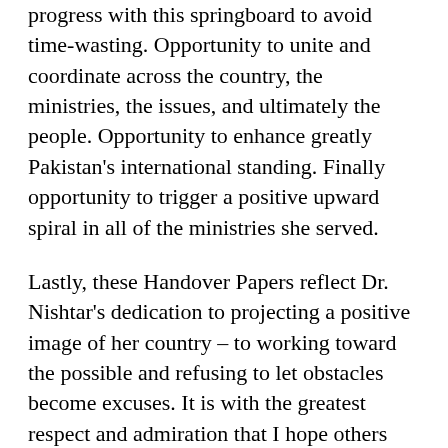progress with this springboard to avoid time-wasting. Opportunity to unite and coordinate across the country, the ministries, the issues, and ultimately the people. Opportunity to enhance greatly Pakistan's international standing. Finally opportunity to trigger a positive upward spiral in all of the ministries she served.
Lastly, these Handover Papers reflect Dr. Nishtar's dedication to projecting a positive image of her country – to working toward the possible and refusing to let obstacles become excuses. It is with the greatest respect and admiration that I hope others follow.
Dr. Nishtar started her term with a letter to her team insisting on the highest standards of integrity, accountability, and transparency and an inspirational visual reminder that service to the Pakistani